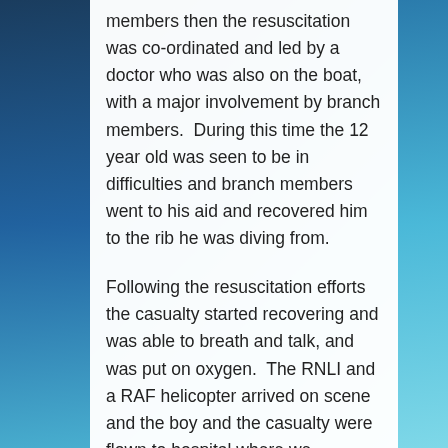members then the resuscitation was co-ordinated and led by a doctor who was also on the boat, with a major involvement by branch members.  During this time the 12 year old was seen to be in difficulties and branch members went to his aid and recovered him to the rib he was diving from.
Following the resuscitation efforts the casualty started recovering and was able to breath and talk, and was put on oxygen.  The RNLI and a RAF helicopter arrived on scene and the boy and the casualty were flown to hospital where we understand he made a full recovery
This was a magnificent team effort by everyone on the boat, whether giving rescue breaths, cardiac compression, preparing the boat for the helicopter or giving support to the casualty and everyone involved.  Everyone on the boat should feel proud of the part they